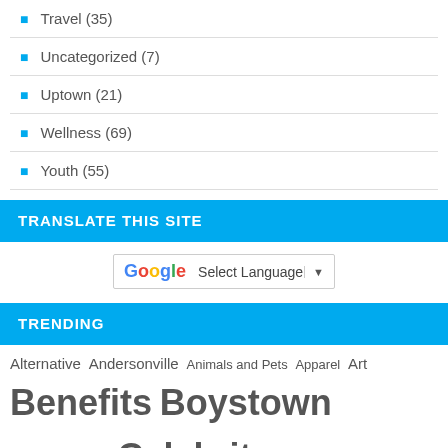Travel (35)
Uncategorized (7)
Uptown (21)
Wellness (69)
Youth (55)
TRANSLATE THIS SITE
[Figure (other): Google Translate widget: Select Language dropdown]
TRENDING
Alternative Andersonville Animals and Pets Apparel Art Benefits Boystown Cabaret Celebrity Center on Halsted Chicago Information Civil Unions Comedy Community Contests Dance Deals Drag Film Fitness FREE Gay Bars Gay Marriage Gay Pride Health HIV Lesbian Movers and Shakers Music News and Happenings Non-Profits Outdoors Outside the City Political Restaurants and Dining